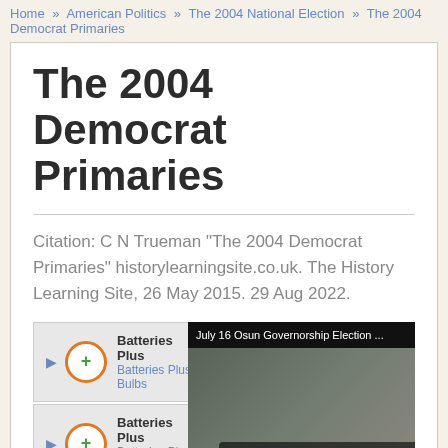Home » American Politics » The 2004 National Election » The 2004 Democrat Primaries
The 2004 Democrat Primaries
Citation: C N Trueman "The 2004 Democrat Primaries" historylearningsite.co.uk. The History Learning Site, 26 May 2015. 29 Aug 2022.
[Figure (other): Advertisement and video overlay showing Batteries Plus ads and a video player with 'No compatible source was found for this media.' message and an X close button]